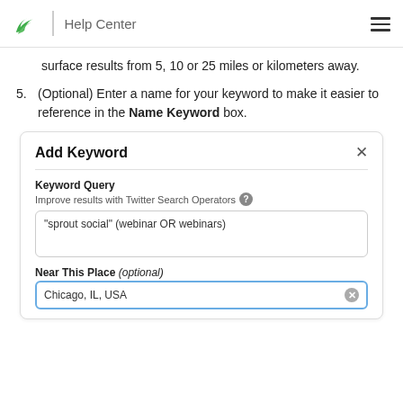Help Center
surface results from 5, 10 or 25 miles or kilometers away.
(Optional) Enter a name for your keyword to make it easier to reference in the Name Keyword box.
[Figure (screenshot): Add Keyword modal dialog showing Keyword Query field with text 'sprout social' (webinar OR webinars) and Near This Place (optional) field with 'Chicago, IL, USA' entered and a clear button.]